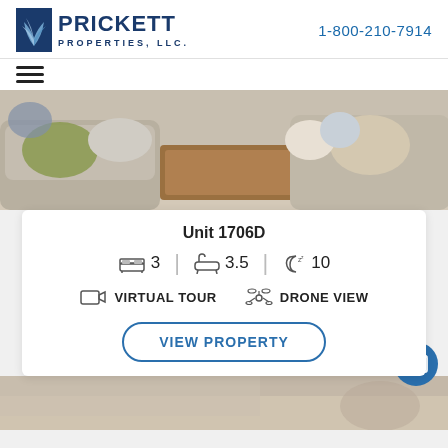[Figure (logo): Prickett Properties LLC logo with stylized palm/feather icon and navy blue text]
1-800-210-7914
[Figure (other): Hamburger menu icon (three horizontal lines)]
[Figure (photo): Interior living room photo showing sofas with decorative pillows and a wooden coffee table]
Unit 1706D
3  |  3.5  |  10
VIRTUAL TOUR   DRONE VIEW
VIEW PROPERTY
[Figure (photo): Partial interior photo visible at bottom of page]